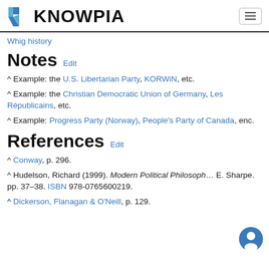KNOWPIA
Whig history
Notes Edit
^ Example: the U.S. Libertarian Party, KORWiN, etc.
^ Example: the Christian Democratic Union of Germany, Les Républicains, etc.
^ Example: Progress Party (Norway), People's Party of Canada, enc.
References Edit
^ Conway, p. 296.
^ Hudelson, Richard (1999). Modern Political Philosophy. E. Sharpe. pp. 37–38. ISBN 978-0765600219.
^ Dickerson, Flanagan & O'Neill, p. 129.